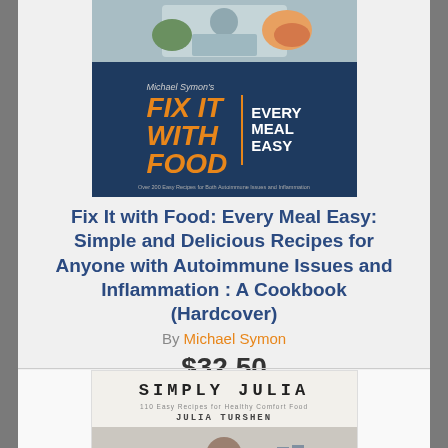[Figure (photo): Book cover of Fix It with Food: Every Meal Easy by Michael Symon — dark navy background with orange 'FIX IT WITH FOOD' text and 'EVERY MEAL EASY' in white, plus a photo of a man and food above.]
Fix It with Food: Every Meal Easy: Simple and Delicious Recipes for Anyone with Autoimmune Issues and Inflammation : A Cookbook (Hardcover)
By Michael Symon
$32.50
Add to Cart
Add to Wish List
On Our Shelves Now: Please call ahead to be sure inventory is not being held for other customers.
[Figure (photo): Book cover of Simply Julia by Julia Turshen — light background with hand-lettered title and author photo of a woman in a kitchen.]